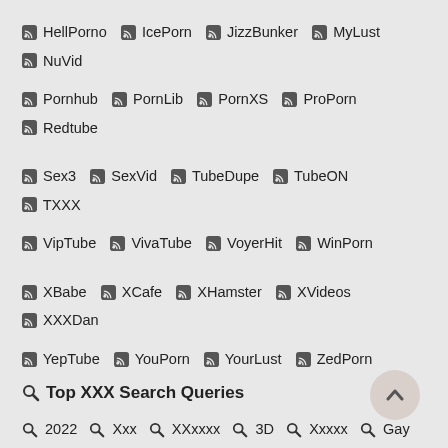HellPorno IcePorn JizzBunker MyLust NuVid
Pornhub PornLib PornXS ProPorn Redtube
Sex3 SexVid TubeDupe TubeON TXXX
VipTube VivaTube VoyerHit WinPorn
XBabe XCafe XHamster XVideos XXXDan
YepTube YouPorn YourLust ZedPorn
Top XXX Search Queries
2022 Xxx XXxxxx 3D Xxxxx Gay
Xxxxxxx Mom Xxxx Anal 2021 Lesbian
Bbw